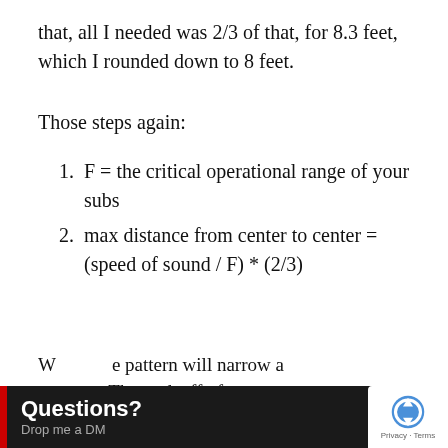that, all I needed was 2/3 of that, for 8.3 feet, which I rounded down to 8 feet.
Those steps again:
F = the critical operational range of your subs
max distance from center to center = (speed of sound / F) * (2/3)
W... the pattern will narrow a... es. The tradeoff of
Questions? Drop me a DM